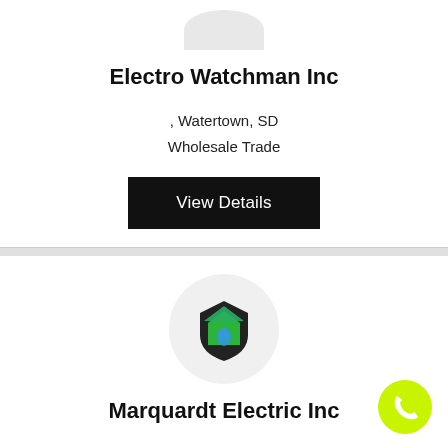[Figure (logo): Partial circular logo placeholder at top (cropped arc)]
Electro Watchman Inc
, Watertown, SD
Wholesale Trade
View Details
[Figure (logo): Marquardt Electric Inc logo: dark shield with green house and blue water drop icon inside a circular grey background]
Marquardt Electric Inc
[Figure (other): Yellow-green circular phone call button in bottom right corner]